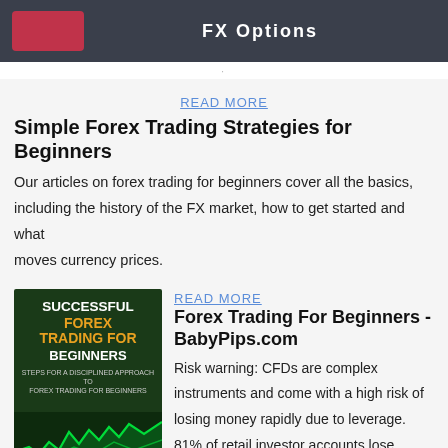FX Options
READ MORE
Simple Forex Trading Strategies for Beginners
Our articles on forex trading for beginners cover all the basics, including the history of the FX market, how to get started and what moves currency prices.
[Figure (illustration): Book cover: Successful Forex Trading for Beginners with green trading chart at bottom]
READ MORE
Forex Trading For Beginners - BabyPips.com
Risk warning: CFDs are complex instruments and come with a high risk of losing money rapidly due to leverage. 81% of retail investor accounts lose